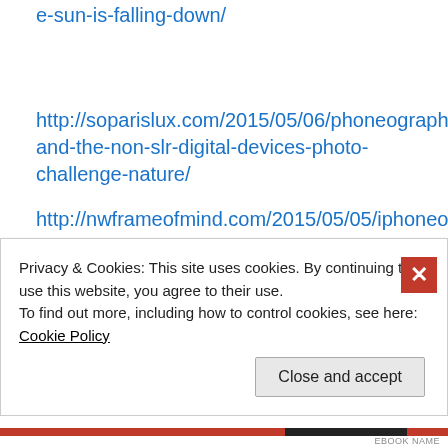e-sun-is-falling-down/
http://soparislux.com/2015/05/06/phoneography-and-the-non-slr-digital-devices-photo-challenge-nature/
http://nwframeofmind.com/2015/05/05/iphoneography-tuesday-natures-cycle-in-the-tulip-fields/
https://zimmerbitch.wordpress.com/2015/05/05/a-second-
Privacy & Cookies: This site uses cookies. By continuing to use this website, you agree to their use.
To find out more, including how to control cookies, see here: Cookie Policy
Close and accept